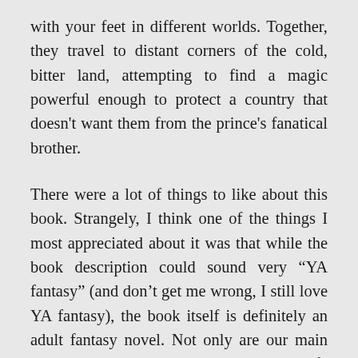with your feet in different worlds. Together, they travel to distant corners of the cold, bitter land, attempting to find a magic powerful enough to protect a country that doesn't want them from the prince's fanatical brother.
There were a lot of things to like about this book. Strangely, I think one of the things I most appreciated about it was that while the book description could sound very “YA fantasy” (and don’t get me wrong, I still love YA fantasy), the book itself is definitely an adult fantasy novel. Not only are our main characters in their mid-twenties with the life experiences that come along with that, but the story itself was quite dark and brutal at times.